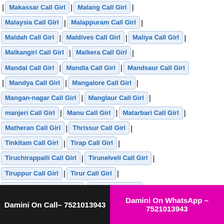Makassar Call Girl | Malang Call Girl |
Malaysia Call Girl | Malappuram Call Girl |
Maldah Call Girl | Maldives Call Girl | Maliya Call Girl |
Malkangiri Call Girl | Malkera Call Girl |
Mandal Call Girl | Mandla Call Girl | Mandsaur Call Girl
| Mandya Call Girl | Mangalore Call Girl |
Mangan-nagar Call Girl | Manglaur Call Girl |
manjeri Call Girl | Manu Call Girl | Matarbari Call Girl |
Matheran Call Girl | Thrissur Call Girl |
Tinkitam Call Girl | Tirap Call Girl |
Tiruchirappalli Call Girl | Tirunelveli Call Girl |
Tiruppur Call Girl | Tirur Call Girl |
Tiruvannamalai Call Girl | Tjuana Call Girl |
Tork Call Girl | Tiruchirappalli Call Girl | Vidisha Call Girl
Damini On Call– 7521013943
Damini On WhatsApp – 7521013943